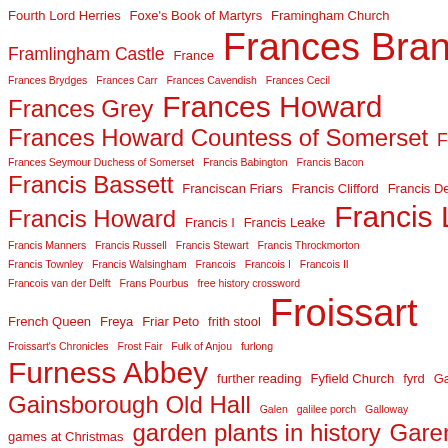Fourth Lord Herries Foxe's Book of Martyrs Framingham Church Framlingham Castle France Frances Brandon Frances Brydges Frances Carr Frances Cavendish Frances Cecil Frances Grey Frances Howard Frances Howard Countess of Somerset Frances Murfyn Frances Seymour Duchess of Somerset Francis Babington Francis Bacon Francis Bassett Franciscan Friars Francis Clifford Francis Dereham Francis Howard Francis I Francis Leake Francis Lovell Francis Manners Francis Russell Francis Stewart Francis Throckmorton Francis Townley Francis Walsingham Francois Francois I Francois II Francois van der Delft Frans Pourbus free history crossword French Queen Freya Friar Peto frith stool Froissart Froissart's Chronicles Frost Fair Fulk of Anjou furlong Furness Abbey further reading Fyfield Church fyrd Gainsborough Gainsborough Old Hall Galen galilee porch Galloway games at Christmas garden plants in history Garendon Abbey Garendon House gargoyle Gascony GCE Geillis Duncan Gelt Wood Genealogical Chronicle of the English Kings General Fairfax